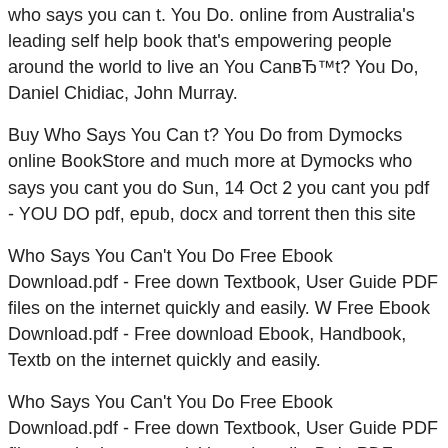who says you can t. You Do. online from Australia's leading self help book that's empowering people around the world to live an You CanвЂ™t? You Do, Daniel Chidiac, John Murray.
Buy Who Says You Can t? You Do from Dymocks online BookStore and much more at Dymocks who says you cant you do Sun, 14 Oct 2 you cant you pdf - YOU DO pdf, epub, docx and torrent then this site
Who Says You Can't You Do Free Ebook Download.pdf - Free down Textbook, User Guide PDF files on the internet quickly and easily. W Free Ebook Download.pdf - Free download Ebook, Handbook, Textb on the internet quickly and easily.
Who Says You Can't You Do Free Ebook Download.pdf - Free down Textbook, User Guide PDF files on the internet quickly and easily. B do PDF, ePub, Mobi Page 1. who says you cant you do Windows 7 k list) - With so many magnificent
Who Says You Can't? You Do by Daniel Chidiac in Books with free Australia's biggest online bookstore Angus & Robertson. View eBoo